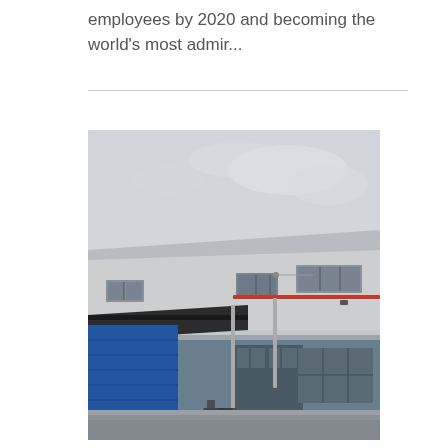employees by 2020 and becoming the world's most admir...
[Figure (photo): Exterior photograph of an industrial warehouse or factory building. The structure has light grey upper walls and blue-grey lower walls, with multiple rectangular windows. A blue roller/sliding door is visible on the left side, along with a dark overhanging canopy/awning. Pipes run along the facade. A motorcycle is parked near the entrance. The sky is overcast and grey.]